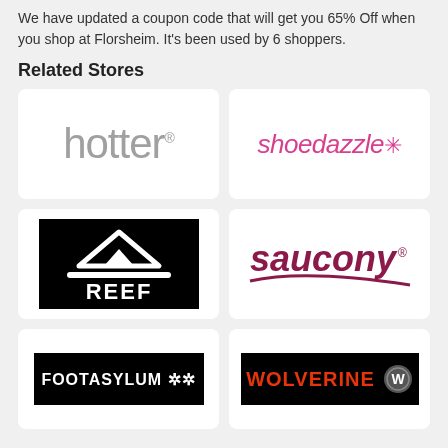We have updated a coupon code that will get you 65% Off when you shop at Florsheim. It's been used by 6 shoppers.
Related Stores
[Figure (logo): Hotter shoes logo — grey lowercase text 'hotter' with registered trademark symbol]
[Figure (logo): Shoedazzle logo — pink italic text 'shoedazzle' with asterisk/star symbol]
[Figure (logo): Reef logo — black background with white mountain/wave icon and 'REEF' text in white bold capitals]
[Figure (logo): Saucony logo — dark red bold italic 'saucony' with registered trademark and swoosh underline]
[Figure (logo): Footasylum logo — black background with white bold uppercase 'FOOTASYLUM' and star/snowflake icons]
[Figure (logo): Wolverine logo — black background with red bold uppercase 'WOLVERINE' and circular head icon]